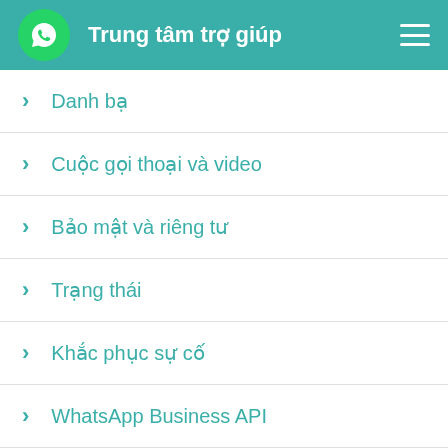Trung tâm trợ giúp
Danh bạ
Cuộc gọi thoại và video
Bảo mật và riêng tư
Trạng thái
Khắc phục sự cố
WhatsApp Business API